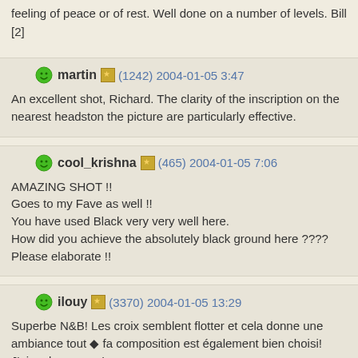feeling of peace or of rest. Well done on a number of levels. Bill
[2]
martin (1242) 2004-01-05 3:47
An excellent shot, Richard. The clarity of the inscription on the nearest headstone the picture are particularly effective.
cool_krishna (465) 2004-01-05 7:06
AMAZING SHOT !!
Goes to my Fave as well !!
You have used Black very very well here.
How did you achieve the absolutely black ground here ???? Please elaborate !!
ilouy (3370) 2004-01-05 13:29
Superbe N&B! Les croix semblent flotter et cela donne une ambiance tout ◆ fa composition est également bien choisi! J'aime beaucoup!
padam (186) 2004-01-05 14:40